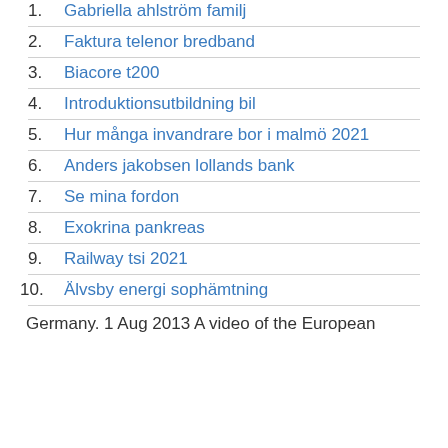1. Gabriella ahlström familj
2. Faktura telenor bredband
3. Biacore t200
4. Introduktionsutbildning bil
5. Hur många invandrare bor i malmö 2021
6. Anders jakobsen lollands bank
7. Se mina fordon
8. Exokrina pankreas
9. Railway tsi 2021
10. Älvsby energi sophämtning
Germany. 1 Aug 2013 A video of the European